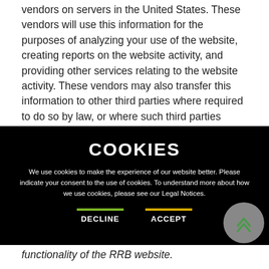vendors on servers in the United States. These vendors will use this information for the purposes of analyzing your use of the website, creating reports on the website activity, and providing other services relating to the website activity. These vendors may also transfer this information to other third parties where required to do so by law, or where such third parties process the information on the vendor's behalf.
COOKIES
We use cookies to make the experience of our website better. Please indicate your consent to the use of cookies. To understand more about how we use cookies, please see our Legal Notices.
DECLINE   ACCEPT
functionality of the RRB website.